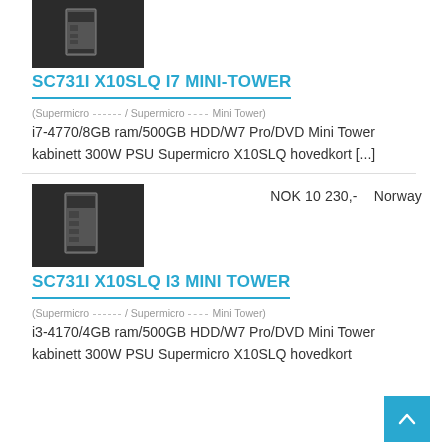[Figure (photo): Product image of SC731I X10SLQ I7 MINI-TOWER computer tower on dark background (top, partially cut off)]
SC731I X10SLQ I7 MINI-TOWER
(Supermicro ------ / Supermicro ----- Mini Tower)
i7-4770/8GB ram/500GB HDD/W7 Pro/DVD Mini Tower kabinett 300W PSU Supermicro X10SLQ hovedkort [...]
[Figure (photo): Product image of SC731I X10SLQ I3 MINI TOWER computer tower on dark background]
NOK 10 230,-    Norway
SC731I X10SLQ I3 MINI TOWER
(Supermicro ------ / Supermicro ----- Mini Tower)
i3-4170/4GB ram/500GB HDD/W7 Pro/DVD Mini Tower kabinett 300W PSU Supermicro X10SLQ hovedkort